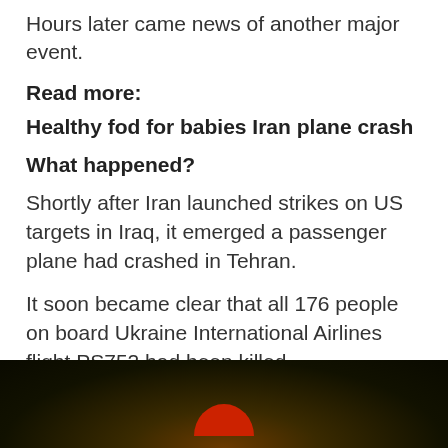Hours later came news of another major event.
Read more:
Healthy fod for babies Iran plane crash
What happened?
Shortly after Iran launched strikes on US targets in Iraq, it emerged a passenger plane had crashed in Tehran.
It soon became clear that all 176 people on board Ukraine International Airlines flight PS752 had been killed.
[Figure (photo): Dark image showing a partial red circular shape at the bottom center, against a very dark brown/black background.]